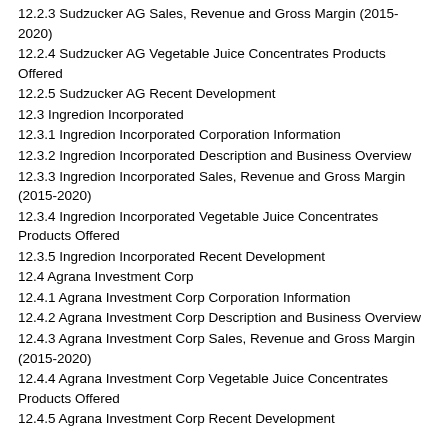12.2.3 Sudzucker AG Sales, Revenue and Gross Margin (2015-2020)
12.2.4 Sudzucker AG Vegetable Juice Concentrates Products Offered
12.2.5 Sudzucker AG Recent Development
12.3 Ingredion Incorporated
12.3.1 Ingredion Incorporated Corporation Information
12.3.2 Ingredion Incorporated Description and Business Overview
12.3.3 Ingredion Incorporated Sales, Revenue and Gross Margin (2015-2020)
12.3.4 Ingredion Incorporated Vegetable Juice Concentrates Products Offered
12.3.5 Ingredion Incorporated Recent Development
12.4 Agrana Investment Corp
12.4.1 Agrana Investment Corp Corporation Information
12.4.2 Agrana Investment Corp Description and Business Overview
12.4.3 Agrana Investment Corp Sales, Revenue and Gross Margin (2015-2020)
12.4.4 Agrana Investment Corp Vegetable Juice Concentrates Products Offered
12.4.5 Agrana Investment Corp Recent Development